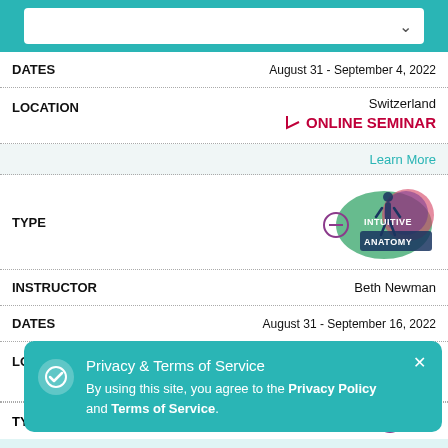[Figure (screenshot): Teal top bar with white search/dropdown box]
| Field | Value |
| --- | --- |
| DATES | August 31 - September 4, 2022 |
| LOCATION | Switzerland / ONLINE SEMINAR |
|  | Learn More |
| TYPE | Intuitive Anatomy logo |
| INSTRUCTOR | Beth Newman |
| DATES | August 31 - September 16, 2022 |
| LOCATION | United States of America / ONLINE SEMINAR |
| TYPE | Planes of (logo) |
Privacy & Terms of Service
By using this site, you agree to the Privacy Policy and Terms of Service.